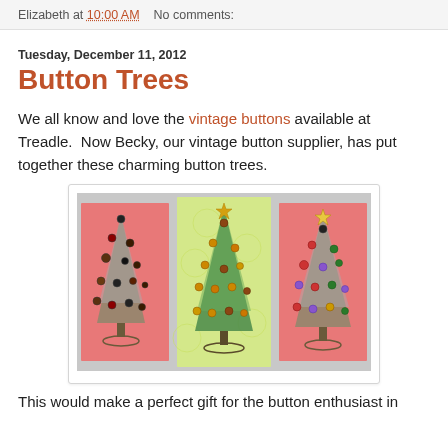Elizabeth at 10:00 AM   No comments:
Tuesday, December 11, 2012
Button Trees
We all know and love the vintage buttons available at Treadle.  Now Becky, our vintage button supplier, has put together these charming button trees.
[Figure (photo): Three handmade Christmas tree cards decorated with vintage buttons on pink and green backgrounds]
This would make a perfect gift for the button enthusiast in